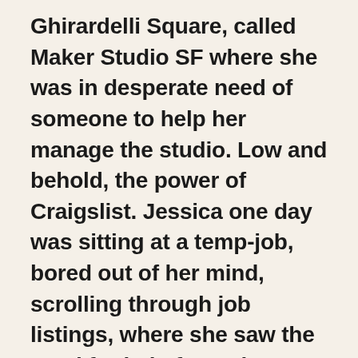Ghirardelli Square, called Maker Studio SF where she was in desperate need of someone to help her manage the studio. Low and behold, the power of Craigslist. Jessica one day was sitting at a temp-job, bored out of her mind, scrolling through job listings, where she saw the need for help for Maker Studio SF.
Marissa was exhausted looking through resumes and not finding the right fit, so she opened one last resume. She was not impressed. Yet, she decided to give it one last chance, and called Jessica as the